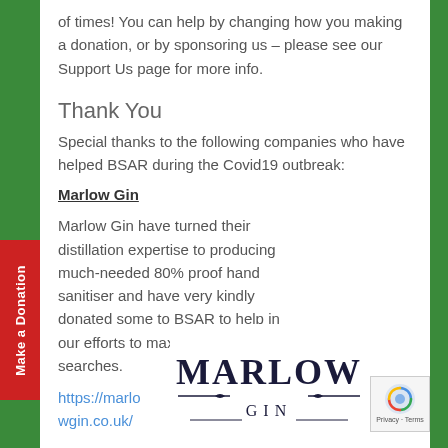of times! You can help by changing how you making a donation, or by sponsoring us – please see our Support Us page for more info.
Thank You
Special thanks to the following companies who have helped BSAR during the Covid19 outbreak:
Marlow Gin
Marlow Gin have turned their distillation expertise to producing much-needed 80% proof hand sanitiser and have very kindly donated some to BSAR to help in our efforts to maximise hygiene on searches.
https://marlowgin.co.uk/
[Figure (logo): Marlow Gin logo with decorative lines]
[Figure (logo): reCAPTCHA privacy badge]